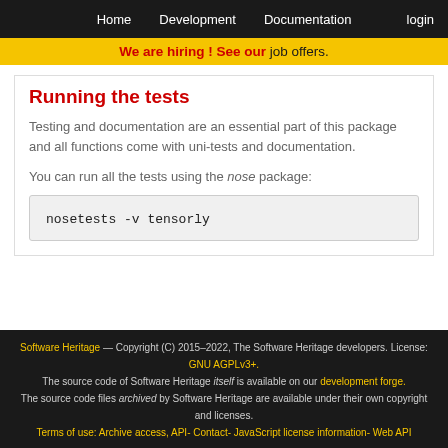Home   Development   Documentation   login
We are hiring ! See our job offers.
Running the tests
Testing and documentation are an essential part of this package and all functions come with uni-tests and documentation.
You can run all the tests using the nose package:
nosetests -v tensorly
Software Heritage — Copyright (C) 2015–2022, The Software Heritage developers. License: GNU AGPLv3+. The source code of Software Heritage itself is available on our development forge. The source code files archived by Software Heritage are available under their own copyright and licenses. Terms of use: Archive access, API- Contact- JavaScript license information- Web API